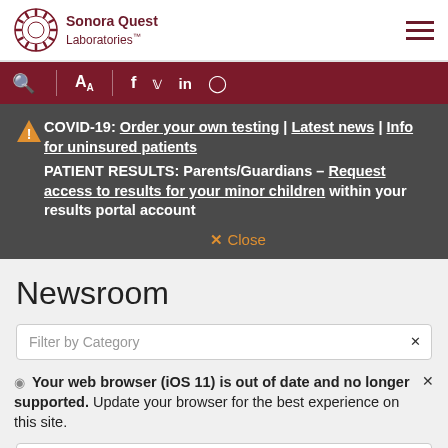Sonora Quest Laboratories
COVID-19: Order your own testing | Latest news | Info for uninsured patients
PATIENT RESULTS: Parents/Guardians – Request access to results for your minor children within your results portal account
✕ Close
Newsroom
Filter by Category
Your web browser (iOS 11) is out of date and no longer supported. Update your browser for the best experience on this site.
Filter by Year